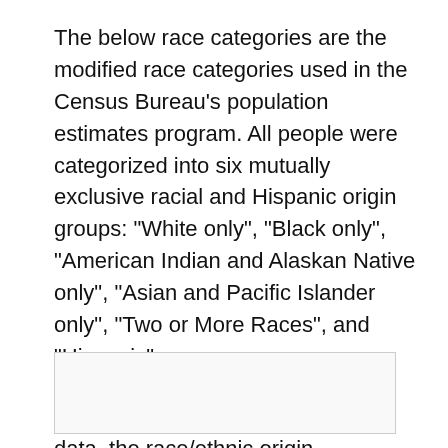The below race categories are the modified race categories used in the Census Bureau's population estimates program. All people were categorized into six mutually exclusive racial and Hispanic origin groups: "White only", "Black only", "American Indian and Alaskan Native only", "Asian and Pacific Islander only", "Two or More Races", and "Hispanic".
For the most recent 2010 census data, the race/ethnic origin breakdown for Moriarty was: